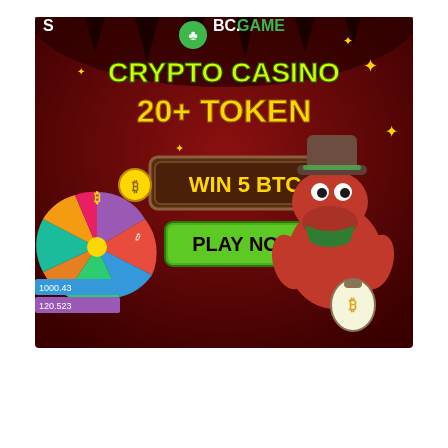[Figure (illustration): BC.GAME crypto casino advertisement banner. Dark red/maroon background with cave-like texture. Top center shows BC.GAME logo with green shamrock icon. Large yellow-green text reads 'CRYPTO CASINO' and '20+ TOKEN'. Center shows a brown badge/plaque with yellow text 'WIN 5 BTC'. Below that a bright green button with black bold text 'PLAY NOW'. Left side shows a colorful spinning prize wheel with cryptocurrency icons and values (1000.43, 120.523, etc.). Right side features an orange cartoon dinosaur/crocodile character wearing a green cowboy hat and bandana, holding a money bag with Bitcoin symbol. Gold sparkle/star decorations scattered around.]